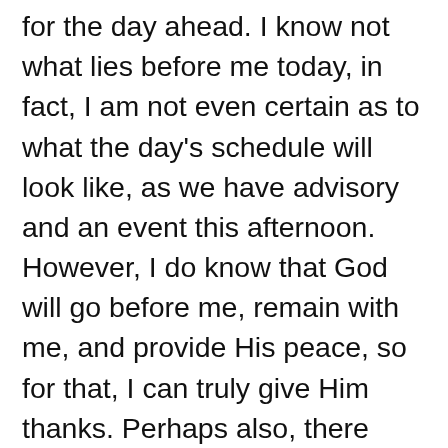for the day ahead. I know not what lies before me today, in fact, I am not even certain as to what the day's schedule will look like, as we have advisory and an event this afternoon. However, I do know that God will go before me, remain with me, and provide His peace, so for that, I can truly give Him thanks. Perhaps also, there was residual gratitude remaining for time spent together with the body. Mark and I met with our small group for the final time for the season last evening, and reminisced with gratitude as we drove home, for the great group of people with whom we had been placed. Peace has been present each time we have met, as all of us had something to offer to the whole. God is good